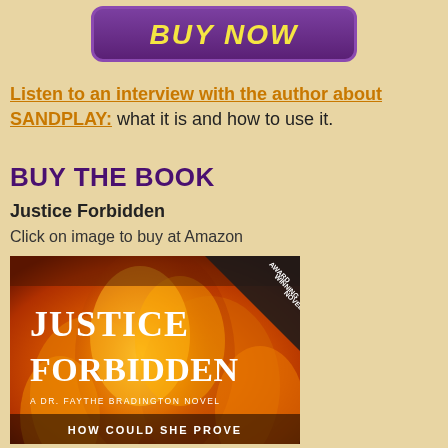[Figure (other): Purple 'BUY NOW' button with yellow italic bold text and rounded corners]
Listen to an interview with the author about SANDPLAY: what it is and how to use it.
BUY THE BOOK
Justice Forbidden
Click on image to buy at Amazon
[Figure (illustration): Book cover for 'Justice Forbidden' - A Dr. Faythe Bradington Novel, showing flames background with white title text and a black award winning novel banner in top right corner. Bottom text reads 'HOW COULD SHE PROVE']